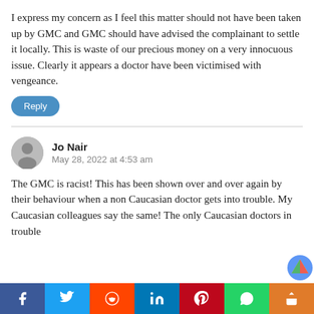I express my concern as I feel this matter should not have been taken up by GMC and GMC should have advised the complainant to settle it locally. This is waste of our precious money on a very innocuous issue. Clearly it appears a doctor have been victimised with vengeance.
Reply
Jo Nair
May 28, 2022 at 4:53 am
The GMC is racist! This has been shown over and over again by their behaviour when a non Caucasian doctor gets into trouble. My Caucasian colleagues say the same! The only Caucasian doctors in trouble